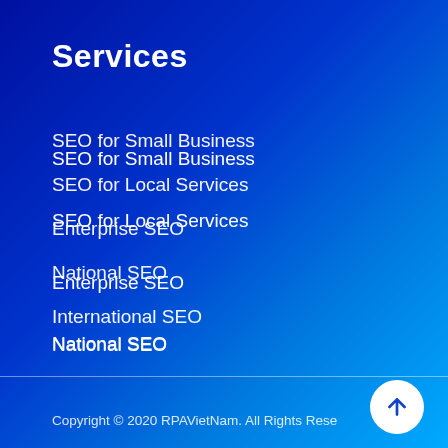Services
SEO for Small Business
SEO for Local Services
Enterprise SEO
National SEO
International SEO
Copyright © 2020 RPAVietNam. All Rights Reserved